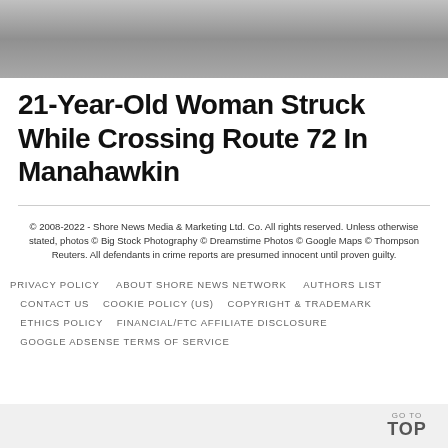[Figure (photo): Partial photo at top of page, appears to show a road or outdoor scene in grayscale]
21-Year-Old Woman Struck While Crossing Route 72 In Manahawkin
© 2008-2022 - Shore News Media & Marketing Ltd. Co. All rights reserved. Unless otherwise stated, photos © Big Stock Photography © Dreamstime Photos © Google Maps © Thompson Reuters. All defendants in crime reports are presumed innocent until proven guilty.
PRIVACY POLICY    ABOUT SHORE NEWS NETWORK    AUTHORS LIST    CONTACT US    COOKIE POLICY (US)    COPYRIGHT & TRADEMARK    ETHICS POLICY    FINANCIAL/FTC AFFILIATE DISCLOSURE    GOOGLE ADSENSE TERMS OF SERVICE